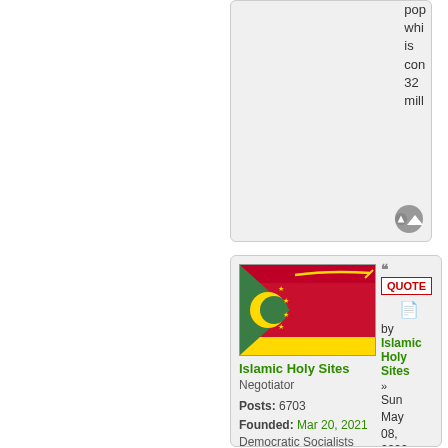pop whi is con 32 mill
[Figure (screenshot): Forum post by Islamic Holy Sites showing a flag of Comoros (green and red with crescent and stars), username Islamic Holy Sites, role Negotiator, Posts: 6703, Founded: Mar 20, 2021, Democratic Socialists. Quote button and timestamp Sun May 08, 2022 9:46 am.]
Islamic Holy Sites
Negotiator
Posts: 6703
Founded: Mar 20, 2021
Democratic Socialists
by Islamic Holy Sites » Sun May 08, 2022 9:46 am